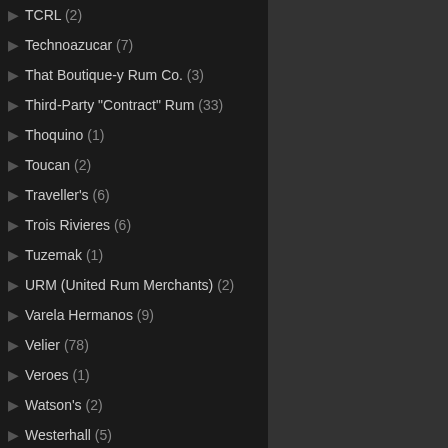TCRL (2)
Technoazucar (7)
That Boutique-y Rum Co. (3)
Third-Party "Contract" Rum (33)
Thoquino (1)
Toucan (2)
Traveller's (6)
Trois Rivieres (6)
Tuzemak (1)
URM (United Rum Merchants) (2)
Varela Hermanos (9)
Velier (78)
Veroes (1)
Watson's (2)
Westerhall (5)
Whaler's (1)
Whisper (1)
William Hinton (2)
Williams & Humbert (2)
Winding Road Distilling Co. (2)